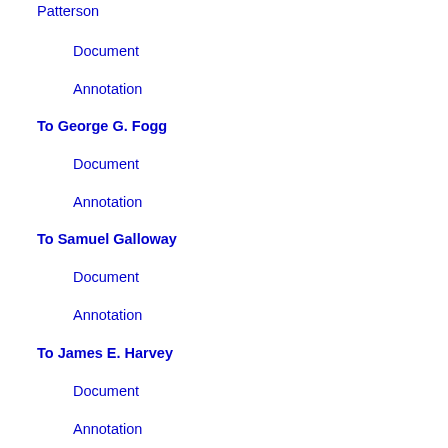Patterson
Document
Annotation
To George G. Fogg
Document
Annotation
To Samuel Galloway
Document
Annotation
To James E. Harvey
Document
Annotation
To William Fithian
Document
Annotation
To John B. Fry
Document
Annotation
To George G. Fogg
Document
Annotation
To Samuel Haycraft
Document
Annotation
To James E. Si...